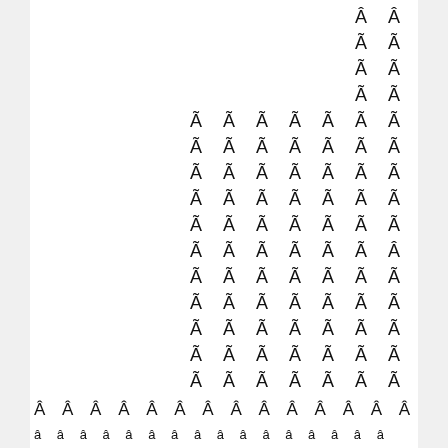[Figure (other): A pattern of Â characters arranged in a triangular/pyramid shape on the right side of the page, with two full rows of Â characters spanning the full width at the bottom. The characters form a decorative or encoded text pattern.]